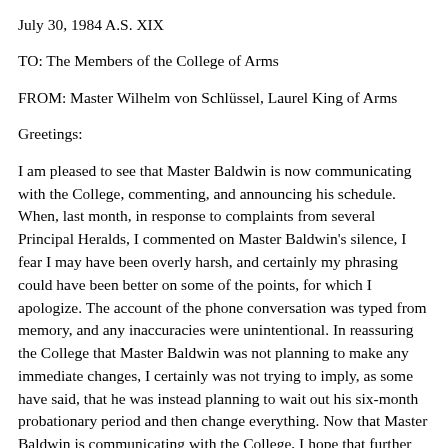July 30, 1984 A.S. XIX
TO: The Members of the College of Arms
FROM: Master Wilhelm von Schlüssel, Laurel King of Arms
Greetings:
I am pleased to see that Master Baldwin is now communicating with the College, commenting, and announcing his schedule. When, last month, in response to complaints from several Principal Heralds, I commented on Master Baldwin's silence, I fear I may have been overly harsh, and certainly my phrasing could have been better on some of the points, for which I apologize. The account of the phone conversation was typed from memory, and any inaccuracies were unintentional. In reassuring the College that Master Baldwin was not planning to make any immediate changes, I certainly was not trying to imply, as some have said, that he was instead planning to wait out his six-month probationary period and then change everything. Now that Master Baldwin is communicating with the College, I hope that further misunderstandings and uncertainties can be avoided or minimized. Master Baldwin is certainly capable of doing a good job as Laurel, and I hope he succeeds in doing so. I ask the rest of the College to, as I will, assist him by sending in comments and letting him know